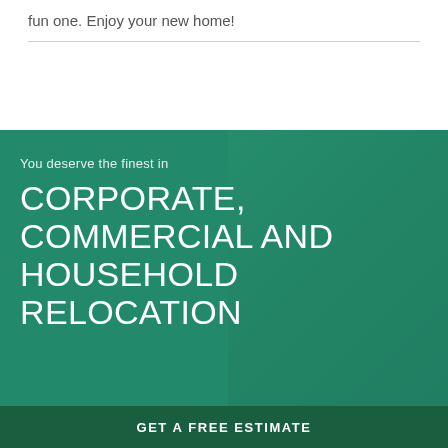fun one. Enjoy your new home!
[Figure (photo): Banner image with green teal overlay showing a woman with arms raised joyfully, with white text overlay promoting corporate, commercial and household relocation services, and a call-to-action button 'GET A FREE ESTIMATE']
You deserve the finest in
CORPORATE, COMMERCIAL AND HOUSEHOLD RELOCATION
GET A FREE ESTIMATE